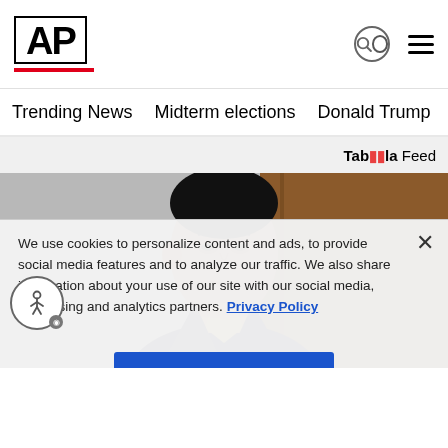AP
Trending News  Midterm elections  Donald Trump  Russia-Ukr
Taboola Feed
[Figure (photo): A young man in a suit with a yellow tie, looking serious, photographed in a courtroom or formal setting. Background shows grey and brown tones.]
We use cookies to personalize content and ads, to provide social media features and to analyze our traffic. We also share information about your use of our site with our social media, advertising and analytics partners. Privacy Policy